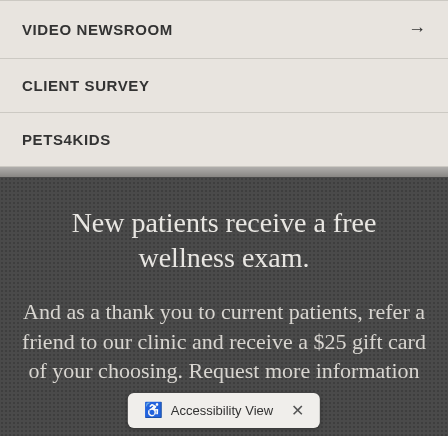VIDEO NEWSROOM
CLIENT SURVEY
PETS4KIDS
New patients receive a free wellness exam.
And as a thank you to current patients, refer a friend to our clinic and receive a $25 gift card of your choosing. Request more information on this offer by e[mailing us]
Accessibility View